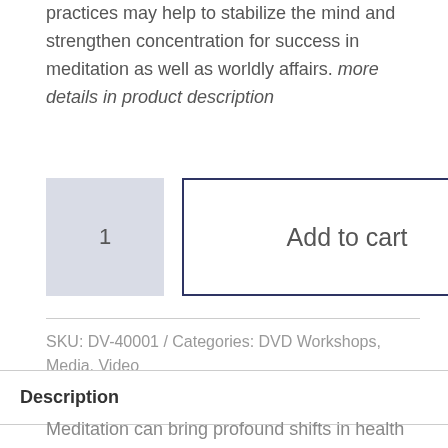practices may help to stabilize the mind and strengthen concentration for success in meditation as well as worldly affairs. more details in product description
1
Add to cart
SKU: DV-40001 / Categories: DVD Workshops, Media, Video
Description
Meditation can bring profound shifts in health and